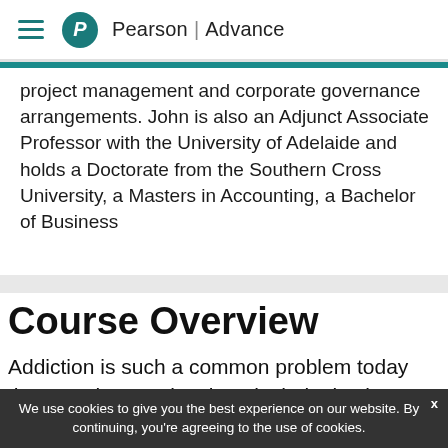Pearson | Advance
project management and corporate governance arrangements. John is also an Adjunct Associate Professor with the University of Adelaide and holds a Doctorate from the Southern Cross University, a Masters in Accounting, a Bachelor of Business
Course Overview
Addiction is such a common problem today that people experiencing alcohol, nicotine
We use cookies to give you the best experience on our website. By continuing, you're agreeing to the use of cookies.